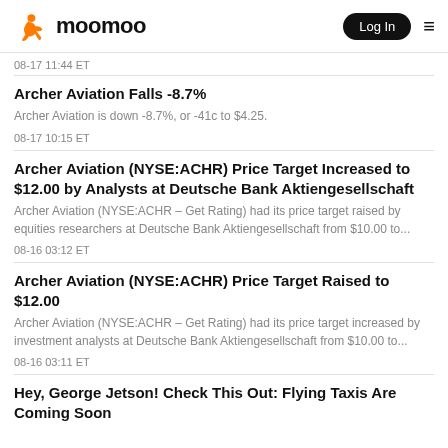moomoo | Log In
08-17 11:44 ET
Archer Aviation Falls -8.7%
Archer Aviation is down -8.7%, or -41c to $4.25.
08-17 10:15 ET
Archer Aviation (NYSE:ACHR) Price Target Increased to $12.00 by Analysts at Deutsche Bank Aktiengesellschaft
Archer Aviation (NYSE:ACHR – Get Rating) had its price target raised by equities researchers at Deutsche Bank Aktiengesellschaft from $10.00 to...
08-16 03:12 ET
Archer Aviation (NYSE:ACHR) Price Target Raised to $12.00
Archer Aviation (NYSE:ACHR – Get Rating) had its price target increased by investment analysts at Deutsche Bank Aktiengesellschaft from $10.00 to...
08-16 03:11 ET
Hey, George Jetson! Check This Out: Flying Taxis Are Coming Soon